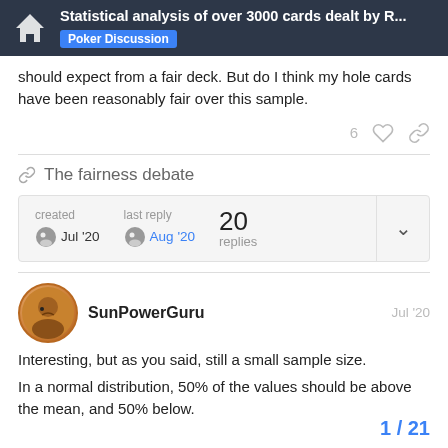Statistical analysis of over 3000 cards dealt by R... | Poker Discussion
should expect from a fair deck. But do I think my hole cards have been reasonably fair over this sample.
The fairness debate
| created | last reply | 20 replies |
| --- | --- | --- |
| Jul '20 | Aug '20 |  |
SunPowerGuru   Jul '20
Interesting, but as you said, still a small sample size.
In a normal distribution, 50% of the values should be above the mean, and 50% below.
1 / 21